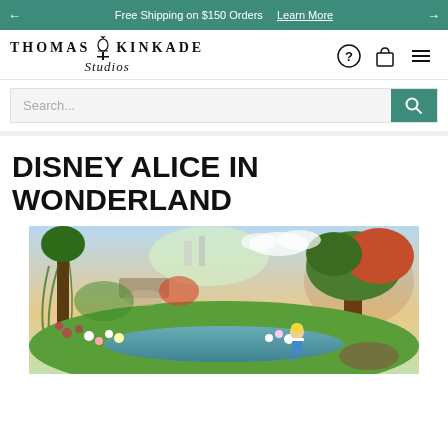Free Shipping on $150 Orders  Learn More
[Figure (logo): Thomas Kinkade Studios logo with lamp post icon]
[Figure (infographic): Search bar with teal search button, help icon, bag icon, and hamburger menu icon]
DISNEY ALICE IN WONDERLAND
[Figure (photo): Thomas Kinkade painting of Disney Alice in Wonderland scene — lush forest landscape with a stream, colorful flowers, trees, a bridge, and Alice character sitting by the water]